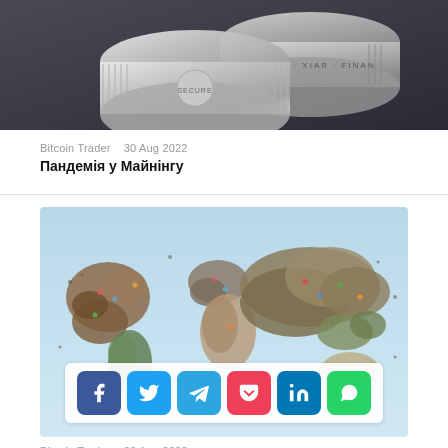[Figure (photo): Silver cryptocurrency coins stacked on dark background]
Bitcoin Trader   30 Aug 2022
Пандемія у Майнінгу
[Figure (photo): World map made of people/crowd viewed from above with social sharing bar overlay showing Facebook, Twitter, Telegram, Pocket, LinkedIn, WhatsApp icons]
Bitcoin Trader   30 Aug 2022